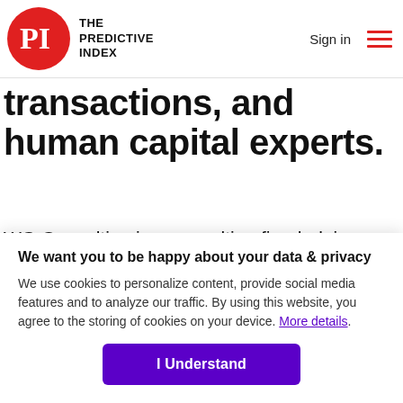THE PREDICTIVE INDEX | Sign in
transactions, and human capital experts.
WG Consulting is a consulting firm helping clients realize the benefits and manage the challenges of digital transformation across Finance, Operations, Revenue, and Human Capital. As
We want you to be happy about your data & privacy
We use cookies to personalize content, provide social media features and to analyze our traffic. By using this website, you agree to the storing of cookies on your device. More details.
I Understand